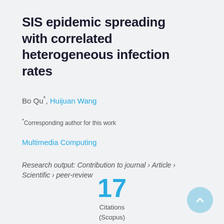SIS epidemic spreading with correlated heterogeneous infection rates
Bo Qu*, Huijuan Wang
*Corresponding author for this work
Multimedia Computing
Research output: Contribution to journal › Article › Scientific › peer-review
17 Citations (Scopus)